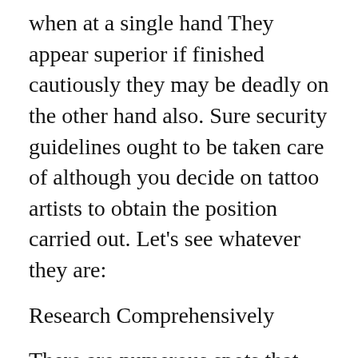when at a single hand They appear superior if finished cautiously they may be deadly on the other hand also. Sure security guidelines ought to be taken care of although you decide on tattoo artists to obtain the position carried out. Let's see whatever they are:
Research Comprehensively
There are numerous spots that you'll find the advertisements of the tattoo artists. Look for totally to ensure that you find the best tattoo artists. You can seek out them on Instagram, Twitter and Facebook internet pages the place they add over